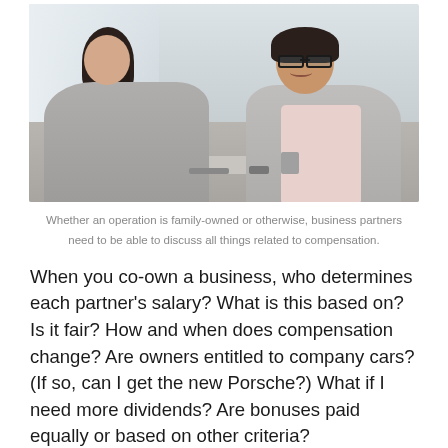[Figure (photo): Two women sitting across from each other at a desk in an office setting. One woman has her back to the camera with dark hair in a ponytail wearing a grey jacket. The other woman faces the camera wearing glasses and a grey blazer over a pink shirt, smiling. A laptop is visible on the desk.]
Whether an operation is family-owned or otherwise, business partners need to be able to discuss all things related to compensation.
When you co-own a business, who determines each partner's salary? What is this based on? Is it fair? How and when does compensation change? Are owners entitled to company cars? (If so, can I get the new Porsche?) What if I need more dividends? Are bonuses paid equally or based on other criteria?